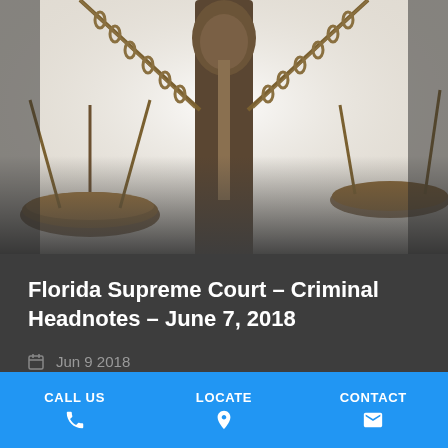[Figure (photo): Bronze scales of justice statue with blurred background, close-up showing the balance scales and figure]
Florida Supreme Court – Criminal Headnotes – June 7, 2018
Jun 9 2018
MICHAEL LEVANDOSKI V. STATE OF FLORIDA – UNTIMELY MOTION TO CORRECT ILLEGAL SENTENCE; SPECIAL CONDITIONS OF PROBATION FOR SEX OFFENDER; NOT
CALL US  LOCATE  CONTACT